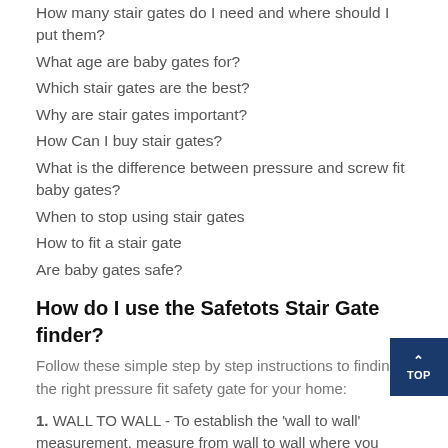How many stair gates do I need and where should I put them?
What age are baby gates for?
Which stair gates are the best?
Why are stair gates important?
How Can I buy stair gates?
What is the difference between pressure and screw fit baby gates?
When to stop using stair gates
How to fit a stair gate
Are baby gates safe?
How do I use the Safetots Stair Gate finder?
Follow these simple step by step instructions to finding the right pressure fit safety gate for your home:
1. WALL TO WALL - To establish the 'wall to wall' measurement, measure from wall to wall where you